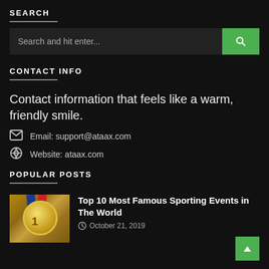SEARCH
Search and hit enter...
CONTACT INFO
Contact information that feels like a warm, friendly smile.
Email: support@ataax.com
Website: ataax.com
POPULAR POSTS
[Figure (photo): Hand holding a gold medal with blue and red ribbon]
Top 10 Most Famous Sporting Events in The World
October 21, 2019